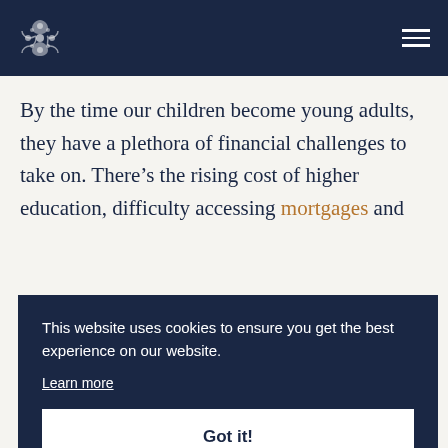Navigation bar with logo and hamburger menu
By the time our children become young adults, they have a plethora of financial challenges to take on. There’s the rising cost of higher education, difficulty accessing mortgages and ...em ...nt ...ate ...m!
This website uses cookies to ensure you get the best experience on our website. Learn more Got it!